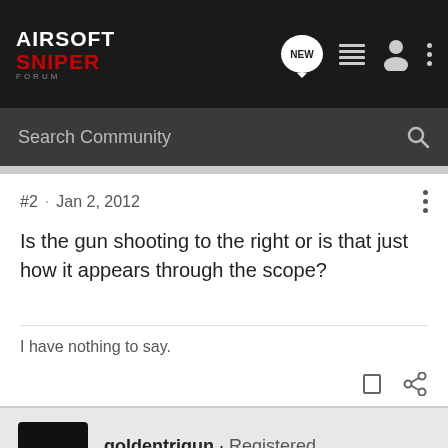[Figure (screenshot): Airsoft Sniper Forum navigation bar with logo, NEW badge, menu icons, and three-dot menu]
Search Community
#2 · Jan 2, 2012
Is the gun shooting to the right or is that just how it appears through the scope?
I have nothing to say.
goldentrigun · Registered
Joined Oct 31, 2011 · 890 Posts